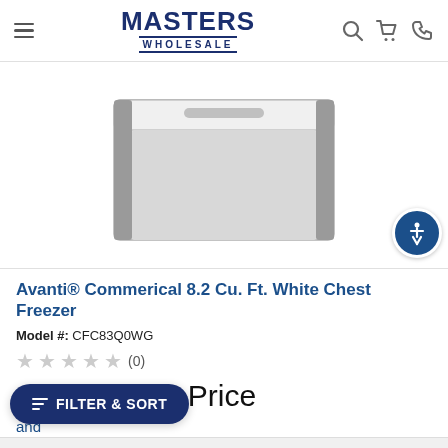Masters Wholesale
[Figure (photo): White chest freezer product photo on white background]
Avanti® Commerical 8.2 Cu. Ft. White Chest Freezer
Model #: CFC83Q0WG
★★★★★ (0)
Call for Best Price
and
e Longer